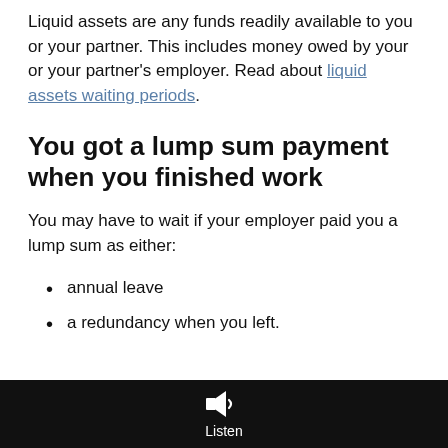Liquid assets are any funds readily available to you or your partner. This includes money owed by your or your partner's employer. Read about liquid assets waiting periods.
You got a lump sum payment when you finished work
You may have to wait if your employer paid you a lump sum as either:
annual leave
a redundancy when you left.
Listen